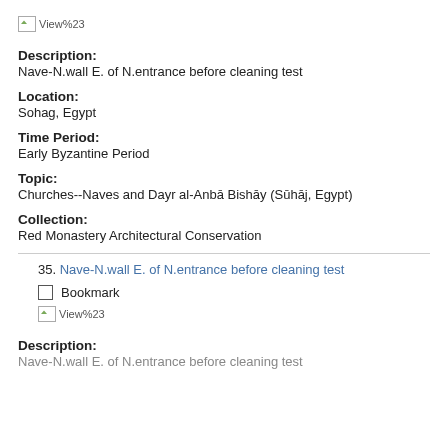[Figure (photo): Broken image placeholder labeled View%23]
Description:
Nave-N.wall E. of N.entrance before cleaning test
Location:
Sohag, Egypt
Time Period:
Early Byzantine Period
Topic:
Churches--Naves and Dayr al-Anbā Bishāy (Sūhāj, Egypt)
Collection:
Red Monastery Architectural Conservation
35. Nave-N.wall E. of N.entrance before cleaning test
Bookmark
[Figure (photo): Broken image placeholder labeled View%23]
Description:
Nave-N.wall E. of N.entrance before cleaning test